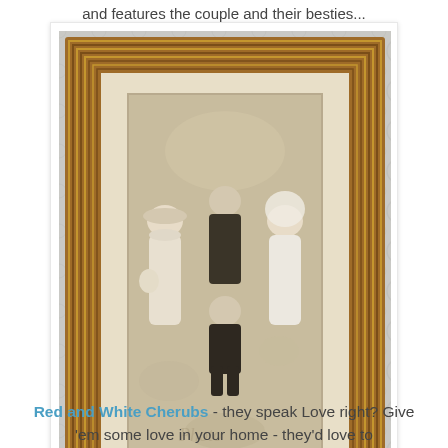and features the couple and their besties...
[Figure (photo): A vintage wedding photograph in a wooden ribbed frame, showing four people — two women in white wedding dresses and two men in dark suits — posed together on a lace tablecloth background.]
Red and White Cherubs - they speak Love right? Give 'em some love in your home - they'd love to